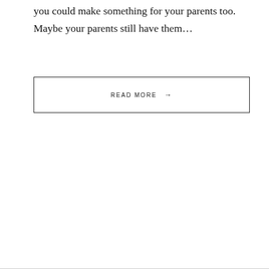you could make something for your parents too. Maybe your parents still have them…
READ MORE →